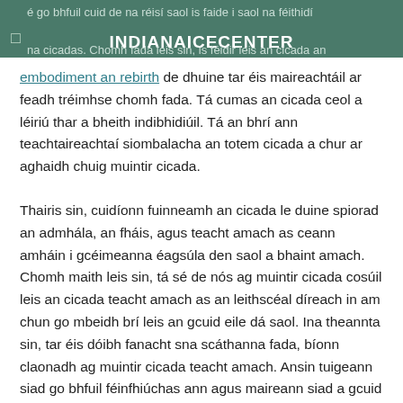INDIANAICECENTER
embodiment an rebirth de dhuine tar éis maireachtáil ar feadh tréimhse chomh fada. Tá cumas an cicada ceol a léiriú thar a bheith indibhidiúil. Tá an bhrí ann teachtaireachtaí siombalacha an totem cicada a chur ar aghaidh chuig muintir cicada.
Thairis sin, cuidíonn fuinneamh an cicada le duine spiorad an admhála, an fháis, agus teacht amach as ceann amháin i gcéimeanna éagsúla den saol a bhaint amach. Chomh maith leis sin, tá sé de nós ag muintir cicada cosúil leis an cicada teacht amach as an leithscéal díreach in am chun go mbeidh brí leis an gcuid eile dá saol. Ina theannta sin, tar éis dóibh fanacht sna scáthanna fada, bíonn claonadh ag muintir cicada teacht amach. Ansin tuigeann siad go bhfuil féinfhiúchas ann agus maireann siad a gcuid saol go hiomlán .